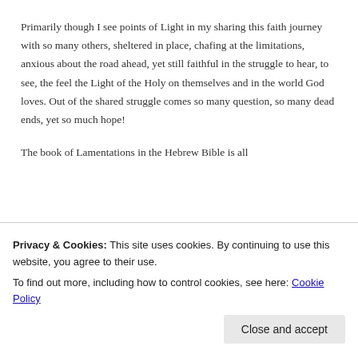Primarily though I see points of Light in my sharing this faith journey with so many others, sheltered in place, chafing at the limitations, anxious about the road ahead, yet still faithful in the struggle to hear, to see, the feel the Light of the Holy on themselves and in the world God loves. Out of the shared struggle comes so many question, so many dead ends, yet so much hope!
The book of Lamentations in the Hebrew Bible is all
Privacy & Cookies: This site uses cookies. By continuing to use this website, you agree to their use.
To find out more, including how to control cookies, see here: Cookie Policy
Close and accept